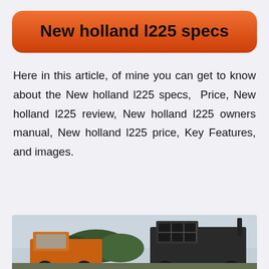New holland l225 specs
Here in this article, of mine you can get to know about the New holland l225 specs,  Price, New holland l225 review, New holland l225 owners manual, New holland l225 price, Key Features, and images.
[Figure (photo): Photograph of a New Holland l225 skid steer loader machine in an outdoor setting with trees and overcast sky visible in the background]